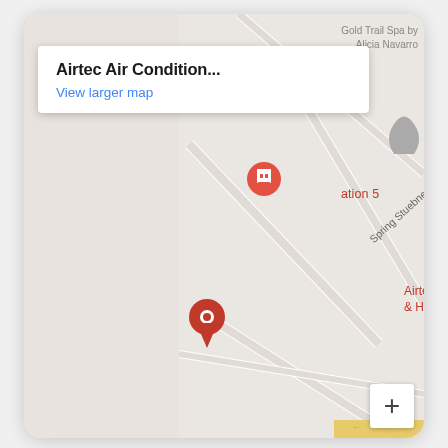[Figure (map): Google Maps screenshot showing the location of Airtec Air Conditioning & Heating LLC near Spring Stuebner Rd and Rudy Brook Way. An info box overlay in the top-left shows the business name 'Airtec Air Condition...' and a 'View larger map' link. A red location pin marks the business location on the map. A zoom-in (+) button appears in the bottom-right corner.]